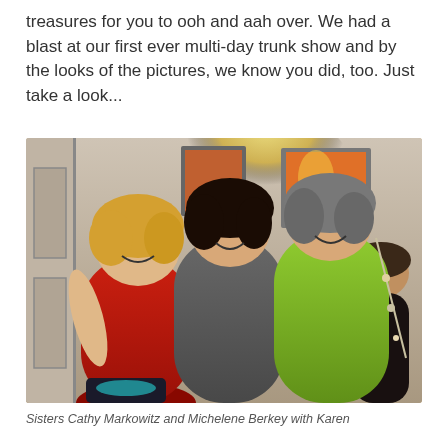treasures for you to ooh and aah over. We had a blast at our first ever multi-day trunk show and by the looks of the pictures, we know you did, too. Just take a look...
[Figure (photo): Three women smiling and posing together inside a gallery or shop. Left woman wears a red top and has blonde hair. Center woman wears a gray top and has dark hair. Right woman wears a lime green shirt and has gray hair. A fourth woman is visible in the background on the far right.]
Sisters Cathy Markowitz and Michelene Berkey with Karen